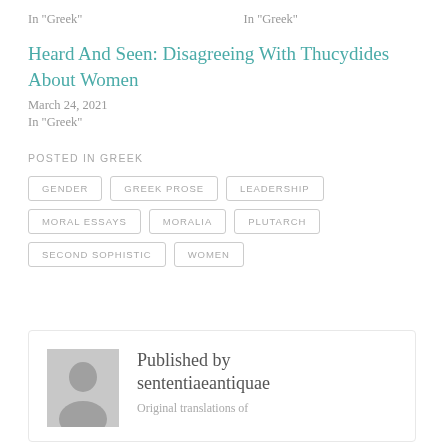In "Greek"
In "Greek"
Heard And Seen: Disagreeing With Thucydides About Women
March 24, 2021
In "Greek"
POSTED IN GREEK
GENDER
GREEK PROSE
LEADERSHIP
MORAL ESSAYS
MORALIA
PLUTARCH
SECOND SOPHISTIC
WOMEN
Published by sententiaeantiquae
Original translations of